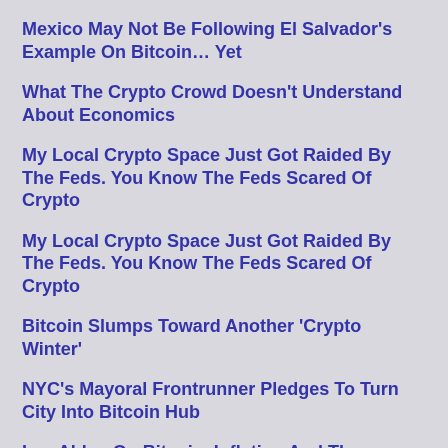Mexico May Not Be Following El Salvador's Example On Bitcoin… Yet
What The Crypto Crowd Doesn't Understand About Economics
My Local Crypto Space Just Got Raided By The Feds. You Know The Feds Scared Of Crypto
My Local Crypto Space Just Got Raided By The Feds. You Know The Feds Scared Of Crypto
Bitcoin Slumps Toward Another 'Crypto Winter'
NYC's Mayoral Frontrunner Pledges To Turn City Into Bitcoin Hub
Lyn Alden On Bitcoin, Inflation And The Potential Coming Energy Shock